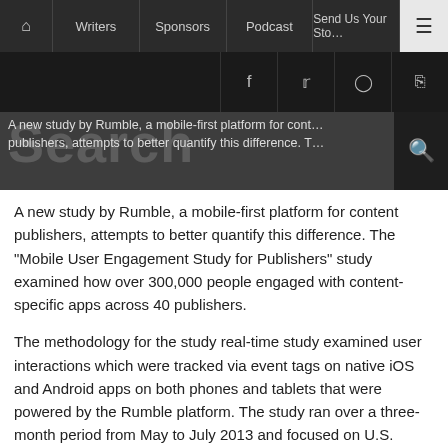Home | Writers | Sponsors | Podcast | Send Us Your Story | Menu
Social icons: Facebook, Twitter, Instagram, RSS
A new study by Rumble, a mobile-first platform for content publishers, attempts to better quantify this difference. The "Mobile User Engagement Study for Publishers" study examined how over 300,000 people engaged with content-specific apps across 40 publishers.
The methodology for the study real-time study examined user interactions which were tracked via event tags on native iOS and Android apps on both phones and tablets that were powered by the Rumble platform. The study ran over a three-month period from May to July 2013 and focused on U.S. users that engaged with the apps. International user behavior was not included in the study.